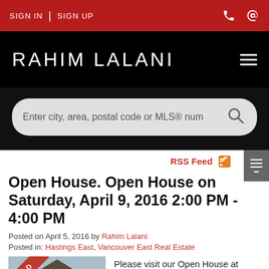SIGN IN | SIGN UP
RAHIM LALANI
[Figure (screenshot): Search bar with placeholder text: Enter city, area, postal code or MLS® num]
RSS Feed
Open House. Open House on Saturday, April 9, 2016 2:00 PM - 4:00 PM
Posted on April 5, 2016 by Rahim Lalani
Posted in: Hastings East, Vancouver East Real Estate
[Figure (photo): House photo with SOLD ribbon overlay]
Please visit our Open House at 2808 WALL ST in Vancouver.